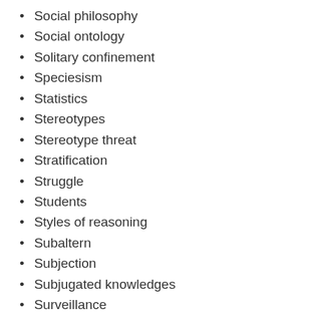Social philosophy
Social ontology
Solitary confinement
Speciesism
Statistics
Stereotypes
Stereotype threat
Stratification
Struggle
Students
Styles of reasoning
Subaltern
Subjection
Subjugated knowledges
Surveillance
Teaching
Technologies of normalization
Technology